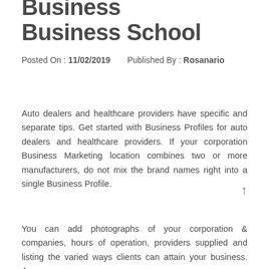Business School
Posted On : 11/02/2019    Published By : Rosanario
Auto dealers and healthcare providers have specific and separate tips. Get started with Business Profiles for auto dealers and healthcare providers. If your corporation Business Marketing location combines two or more manufacturers, do not mix the brand names right into a single Business Profile.
You can add photographs of your corporation & companies, hours of operation, providers supplied and listing the varied ways clients can attain your business. Are